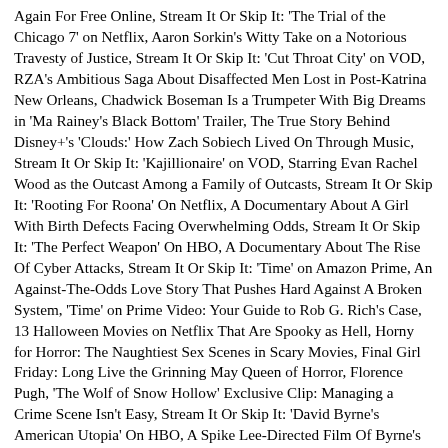Again For Free Online, Stream It Or Skip It: 'The Trial of the Chicago 7' on Netflix, Aaron Sorkin's Witty Take on a Notorious Travesty of Justice, Stream It Or Skip It: 'Cut Throat City' on VOD, RZA's Ambitious Saga About Disaffected Men Lost in Post-Katrina New Orleans, Chadwick Boseman Is a Trumpeter With Big Dreams in 'Ma Rainey's Black Bottom' Trailer, The True Story Behind Disney+'s 'Clouds:' How Zach Sobiech Lived On Through Music, Stream It Or Skip It: 'Kajillionaire' on VOD, Starring Evan Rachel Wood as the Outcast Among a Family of Outcasts, Stream It Or Skip It: 'Rooting For Roona' On Netflix, A Documentary About A Girl With Birth Defects Facing Overwhelming Odds, Stream It Or Skip It: 'The Perfect Weapon' On HBO, A Documentary About The Rise Of Cyber Attacks, Stream It Or Skip It: 'Time' on Amazon Prime, An Against-The-Odds Love Story That Pushes Hard Against A Broken System, 'Time' on Prime Video: Your Guide to Rob G. Rich's Case, 13 Halloween Movies on Netflix That Are Spooky as Hell, Horny for Horror: The Naughtiest Sex Scenes in Scary Movies, Final Girl Friday: Long Live the Grinning May Queen of Horror, Florence Pugh, 'The Wolf of Snow Hollow' Exclusive Clip: Managing a Crime Scene Isn't Easy, Stream It Or Skip It: 'David Byrne's American Utopia' On HBO, A Spike Lee-Directed Film Of Byrne's Broadway Show, 'Dolly Parton: Here I Am' Is A Testament To The Artistry And Image Of Country Music's "Backwoods Barbie", Stream It Or Skip It: 'BLACKPINK: Light Up the Sky' on Netflix, The Journey Of The World's Most Popular Girl Group, Shawn Mendes Doc 'In